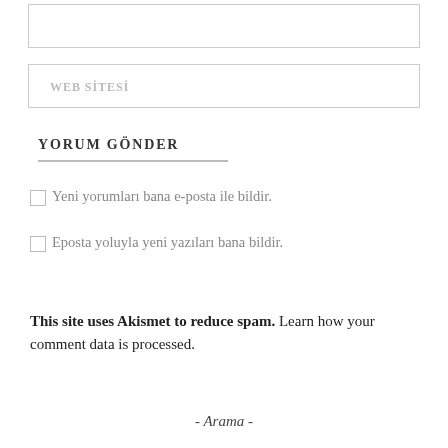WEB SİTESİ
YORUM GÖNDER
Yeni yorumları bana e-posta ile bildir.
Eposta yoluyla yeni yazıları bana bildir.
This site uses Akismet to reduce spam. Learn how your comment data is processed.
- Arama -